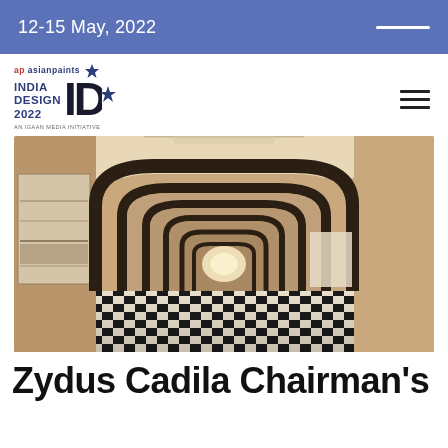12-15 May, 2022
[Figure (logo): Asian Paints India Design ID 2022 logo - An IGAAN Media Initiative]
[Figure (photo): Interior corridor of a building with repeating arched wooden frames, decorative mural on left wall, checkerboard patterned floor, and bright light at the end of the hallway]
Zydus Cadila Chairman's